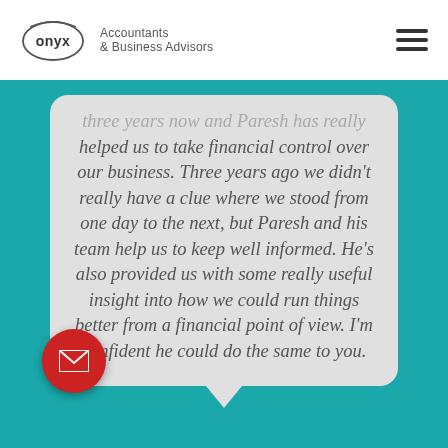Onyx Accountants & Business Advisors
three years now and Paresh has really helped us to take financial control over our business. Three years ago we didn't really have a clue where we stood from one day to the next, but Paresh and his team help us to keep well informed. He's also provided us with some really useful insight into how we could run things better from a financial point of view. I'm confident he could do the same to you.